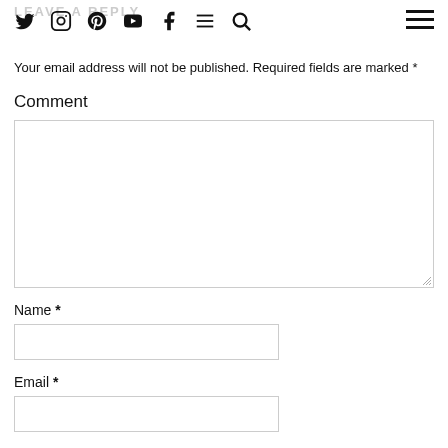LEAVE A REPLY
Your email address will not be published. Required fields are marked *
Comment
[Comment text area]
Name *
[Name input field]
Email *
[Email input field]